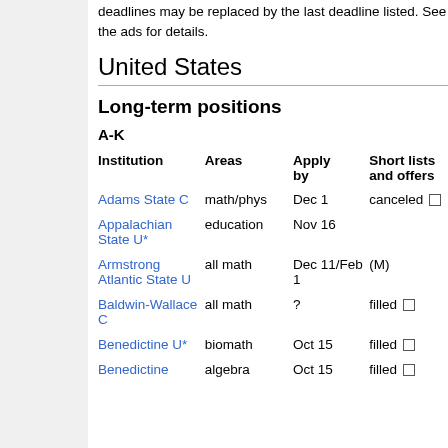deadlines may be replaced by the last deadline listed. See the ads for details.
United States
Long-term positions
A-K
| Institution | Areas | Apply by | Short lists and offers |
| --- | --- | --- | --- |
| Adams State C | math/phys | Dec 1 | canceled □ |
| Appalachian State U* | education | Nov 16 |  |
| Armstrong Atlantic State U | all math | Dec 11/Feb 1 | (M) |
| Baldwin-Wallace C | all math | ? | filled □ |
| Benedictine U* | biomath | Oct 15 | filled □ |
| Benedictine | algebra | Oct 15 | filled □ |